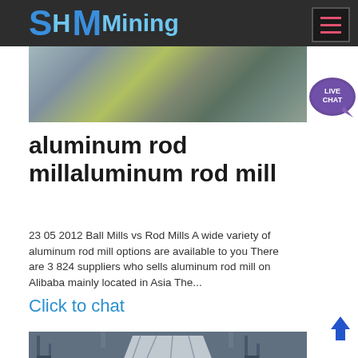SH MMining
[Figure (photo): Aerial/overhead view of mining equipment and conveyor structures on a sandy/rocky site with yellow machinery visible]
[Figure (other): Live Chat speech bubble icon in purple]
aluminum rod millaluminum rod mill
23 05 2012  Ball Mills vs Rod Mills A wide variety of aluminum rod mill options are available to you There are 3 824 suppliers who sells aluminum rod mill on Alibaba mainly located in Asia The
Click to chat
[Figure (photo): Industrial facility with a large conical/funnel-shaped metal vessel or tank surrounded by steel scaffolding and equipment]